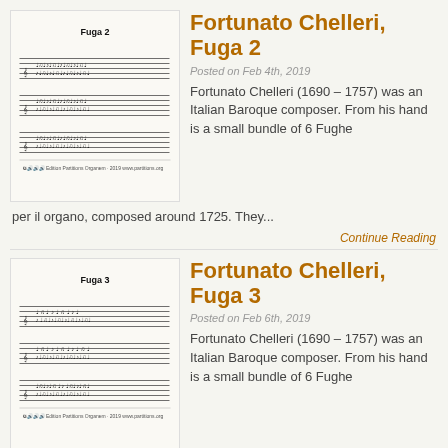[Figure (illustration): Sheet music excerpt for Fuga 2 by Fortunato Chelleri, showing musical notation on staff lines with title 'Fuga 2' and license text below]
Fortunato Chelleri, Fuga 2
Posted on Feb 4th, 2019
Fortunato Chelleri (1690 – 1757) was an Italian Baroque composer. From his hand is a small bundle of 6 Fughe per il organo, composed around 1725. They...
Continue Reading
[Figure (illustration): Sheet music excerpt for Fuga 3 by Fortunato Chelleri, showing musical notation on staff lines with title 'Fuga 3' and license text below]
Fortunato Chelleri, Fuga 3
Posted on Feb 6th, 2019
Fortunato Chelleri (1690 – 1757) was an Italian Baroque composer. From his hand is a small bundle of 6 Fughe per il organo, composed around 1725. They...